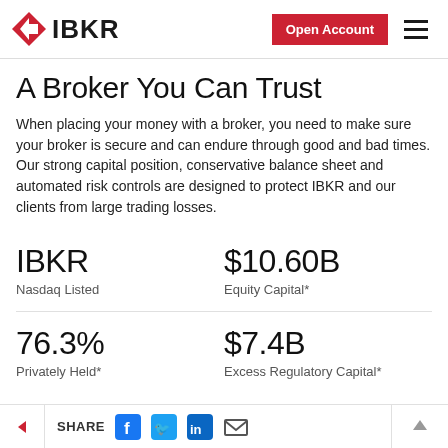[Figure (logo): IBKR (Interactive Brokers) logo with red arrow/diamond icon and bold IBKR text]
A Broker You Can Trust
When placing your money with a broker, you need to make sure your broker is secure and can endure through good and bad times. Our strong capital position, conservative balance sheet and automated risk controls are designed to protect IBKR and our clients from large trading losses.
IBKR
Nasdaq Listed
$10.60B
Equity Capital*
76.3%
Privately Held*
$7.4B
Excess Regulatory Capital*
< SHARE [Facebook] [Twitter] [LinkedIn] [Email]